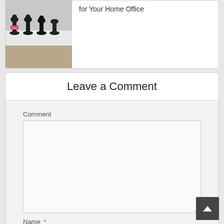[Figure (photo): Photo of black chess pieces on a white surface, partially cropped, with pink label visible]
for Your Home Office
Leave a Comment
Comment
Name *
Email *